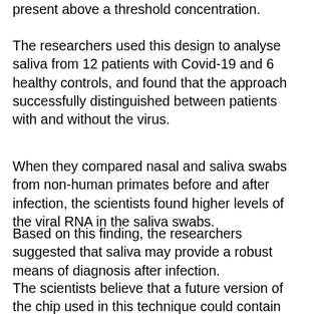present above a threshold concentration.
The researchers used this design to analyse saliva from 12 patients with Covid-19 and 6 healthy controls, and found that the approach successfully distinguished between patients with and without the virus.
When they compared nasal and saliva swabs from non-human primates before and after infection, the scientists found higher levels of the viral RNA in the saliva swabs.
Based on this finding, the researchers suggested that saliva may provide a robust means of diagnosis after infection.
The scientists believe that a future version of the chip used in this technique could contain pre-loaded reagents and sample controls, and a custom smartphone app co...